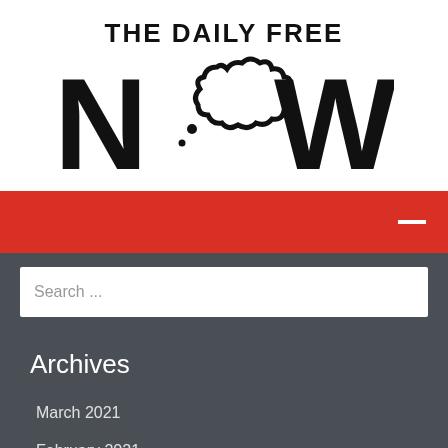[Figure (logo): The Daily Free Now logo with bold text 'THE DAILY FREE' above large letters 'NOW' where the 'O' is replaced by a thought-bubble/cloud shape]
[Figure (other): Red navigation bar with a white minus/dash icon on the right side]
Search ...
Archives
March 2021
February 2021